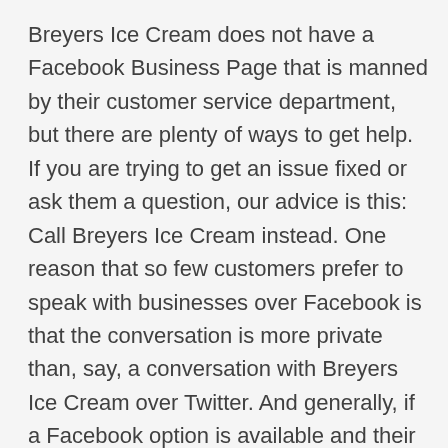Breyers Ice Cream does not have a Facebook Business Page that is manned by their customer service department, but there are plenty of ways to get help. If you are trying to get an issue fixed or ask them a question, our advice is this: Call Breyers Ice Cream instead. One reason that so few customers prefer to speak with businesses over Facebook is that the conversation is more private than, say, a conversation with Breyers Ice Cream over Twitter. And generally, if a Facebook option is available and their customer service department actually operates it, they likely have a big enough customer support operation to also communiate over the phone, by email, or sometimes even by chat. And of course we at GetHuman build tools to make communicating any of these ways even easier and less time-consuming.